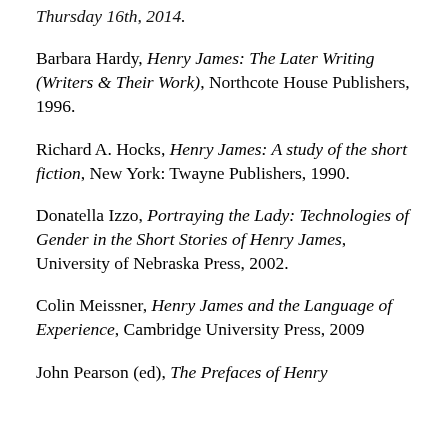Barbara Hardy, Henry James: The Later Writing (Writers & Their Work), Northcote House Publishers, 1996.
Richard A. Hocks, Henry James: A study of the short fiction, New York: Twayne Publishers, 1990.
Donatella Izzo, Portraying the Lady: Technologies of Gender in the Short Stories of Henry James, University of Nebraska Press, 2002.
Colin Meissner, Henry James and the Language of Experience, Cambridge University Press, 2009
John Pearson (ed), The Prefaces of Henry